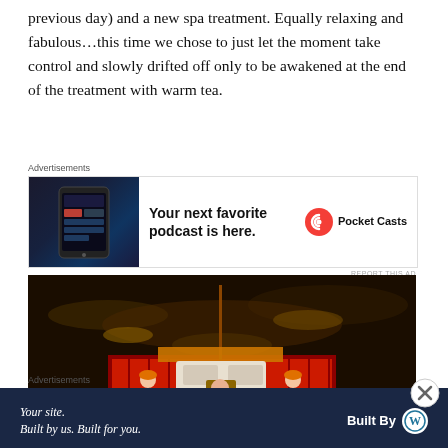previous day) and a new spa treatment. Equally relaxing and fabulous…this time we chose to just let the moment take control and slowly drifted off only to be awakened at the end of the treatment with warm tea.
[Figure (screenshot): Pocket Casts advertisement banner with dark phone screenshot on left and text 'Your next favorite podcast is here.' on right with Pocket Casts logo]
[Figure (photo): People in blue traditional costumes on a red boat on water at night, with a person in red shirt in center]
[Figure (screenshot): WordPress advertisement with dark navy background, text 'Your site. Built by us. Built for you.' and 'Built By' with WordPress logo]